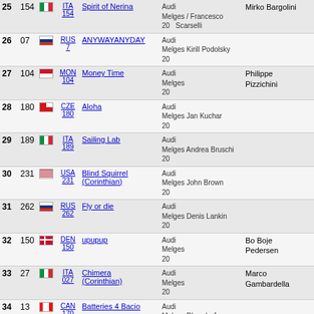| Rank | Sail# | Flag | Country | Boat Name | Yacht | Skipper |
| --- | --- | --- | --- | --- | --- | --- |
| 25 | 154 | ITA | ITA 154 | Spirit of Nerina | Audi Melges 20 | Mirko Bargolini / Francesco Scarselli |
| 26 | 07 | RUS | RUS 7 | ANYWAYANYDAY | Audi Melges 20 | Kirill Podolsky |
| 27 | 104 | MON | MON 104 | Money Time | Audi Melges 20 | Philippe Pizzichini |
| 28 | 180 | CZE | CZE 180 | Aloha | Audi Melges 20 | Jan Kuchar |
| 29 | 189 | ITA | ITA 189 | Sailing Lab | Audi Melges 20 | Andrea Bruschi |
| 30 | 231 | USA | USA 231 | Blind Squirrel (Corinthian) | Audi Melges 20 | John Brown |
| 31 | 262 | RUS | RUS 262 | Fly or die | Audi Melges 20 | Denis Lankin |
| 32 | 150 | DEN | DEN 150 | upupup | Audi Melges 20 | Bo Boje Pedersen |
| 33 | 27 | ITA | ITA 027 | Chimera (Corinthian) | Audi Melges 20 | Marco Gambardella |
| 34 | 13 | CAN | CAN 170 | Batteries 4 Bacio | Audi Melges 20 | Rhonda Joyce |
| 35 | 233 | JPN | JPN 233 | Sokokumaru | Audi Melges 20 | Sumio Shimoyama |